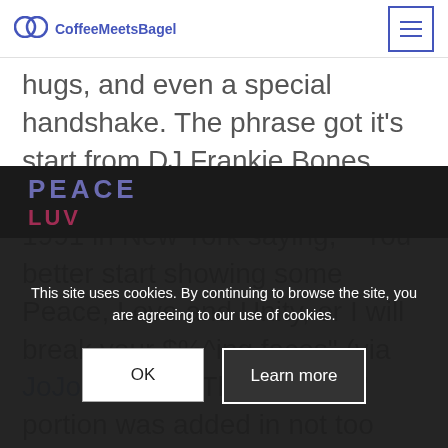CoffeeMeetsBagel
hugs, and even a special handshake. The phrase got it’s start from DJ Frankie Bones who broke up a fight at a rave in 1991 in New York saying, ““You better start showing some Peace, Love and Unity, or I will break your $%^ing faces” (via JoJo Electro). The “respect” portion was added in not too long after.
This site uses cookies. By continuing to browse the site, you are agreeing to our use of cookies.